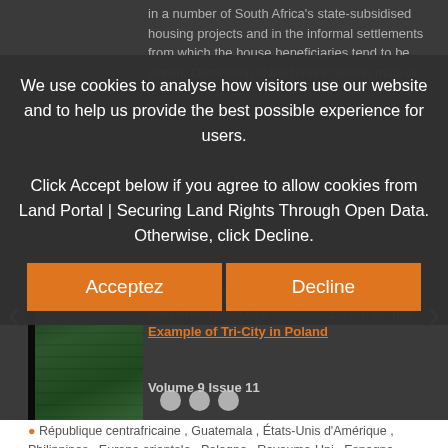in a number of South Africa's state-subsidised housing projects and in the informal settlements from which the house beneficiaries tend to be drawn. Ownership is the tenure form in most of
We use cookies to analyse how visitors use our website and to help us provide the best possible experience for users.
Click Accept below if you agree to allow cookies from Land Portal | Securing Land Rights Through Open Data. Otherwise, click Decline.
[Figure (screenshot): Cookie consent dialog with Accept and Decline buttons]
Changes in the Function of Allotment Gardens: Attractive Location Based on the Example of Tri-City in Poland
Volume 9 Issue 11
République centrafricaine , Guatemala , États-Unis d'Amérique , Philippines , Europe orientale , Pologne , Royaume-Uni , Espagne , Allemagne
Allotment gardens are quite common in many European countries. In particular, they are an important part of the urban space in Central and Eastern Europe.